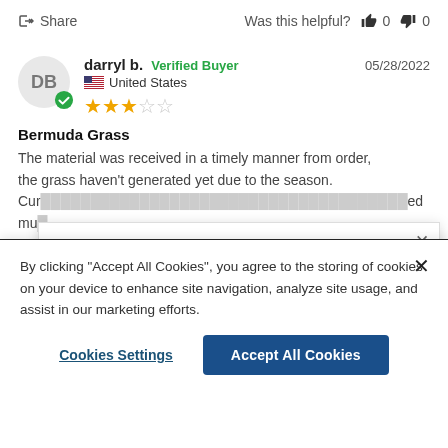Share   Was this helpful?  👍 0  👎 0
darryl b.  Verified Buyer   05/28/2022
United States
★★★☆☆
Bermuda Grass
The material was received in a timely manner from order, the grass haven't generated yet due to the season. Currently [obscured] much [obscured]
[Figure (logo): Hancock Seed Company logo with combine harvester illustration and bold text reading HANCOCK SEED COMPANY]
By clicking "Accept All Cookies", you agree to the storing of cookies on your device to enhance site navigation, analyze site usage, and assist in our marketing efforts.
Cookies Settings   Accept All Cookies